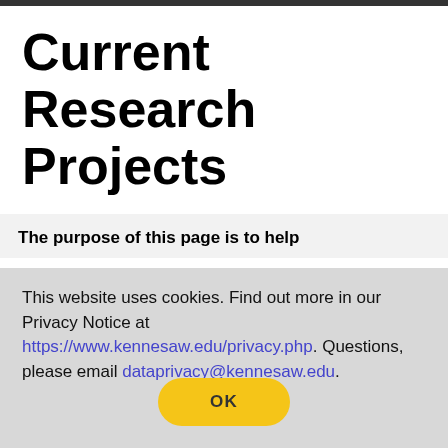Current Research Projects
The purpose of this page is to help
This website uses cookies. Find out more in our Privacy Notice at https://www.kennesaw.edu/privacy.php. Questions, please email dataprivacy@kennesaw.edu.